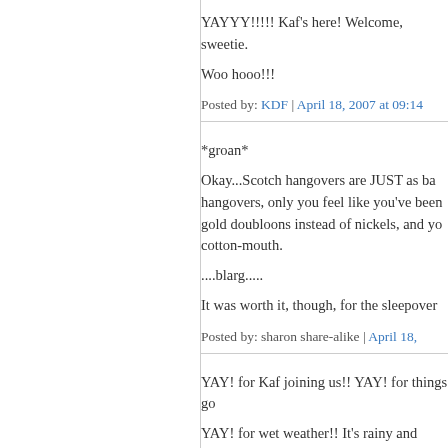YAYYY!!!!! Kaf's here! Welcome, sweetie.
Woo hooo!!!
Posted by: KDF | April 18, 2007 at 09:14
*groan*
Okay...Scotch hangovers are JUST as bad as beer hangovers, only you feel like you've been hit with gold doubloons instead of nickels, and you've got cotton-mouth.
....blarg.....
It was worth it, though, for the sleepover
Posted by: sharon share-alike | April 18,
YAY! for Kaf joining us!! YAY! for things ge
YAY! for wet weather!! It's rainy and overc great for studying, finals end on Monday